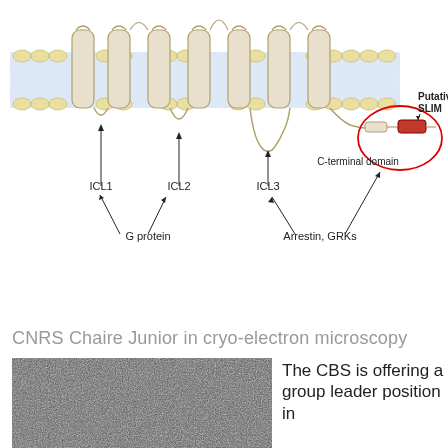[Figure (schematic): Diagram of a G protein-coupled receptor (GPCR) embedded in a cell membrane bilayer, showing 7 transmembrane helices, intracellular loops ICL1, ICL2, ICL3, and a C-terminal domain with a putative SLIM motif (red rectangle). Arrows indicate interaction sites: G protein binding to ICL1 and ICL2; Arrestin/GRKs binding to ICL3 and C-terminal domain. The C-terminal domain and SLIM motif are circled in red.]
CNRS Chaire Junior in cryo-electron microscopy
[Figure (photo): Cryo-electron microscopy image showing a grainy, high-contrast black and white micrograph with protein particles visible as darker spots.]
The CBS is offering a group leader position in